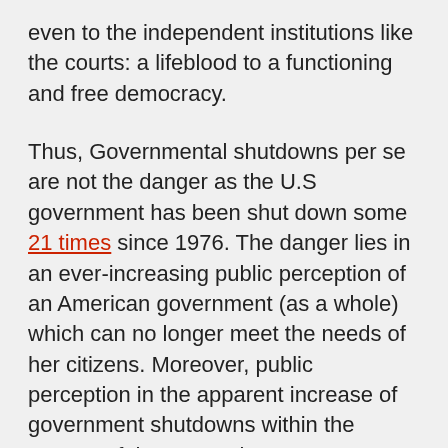even to the independent institutions like the courts: a lifeblood to a functioning and free democracy.
Thus, Governmental shutdowns per se are not the danger as the U.S government has been shut down some 21 times since 1976. The danger lies in an ever-increasing public perception of an American government (as a whole) which can no longer meet the needs of her citizens. Moreover, public perception in the apparent increase of government shutdowns within the context of the unpopular Trump administration is undermining faith also.
This 34-day shutdown has been spoken of